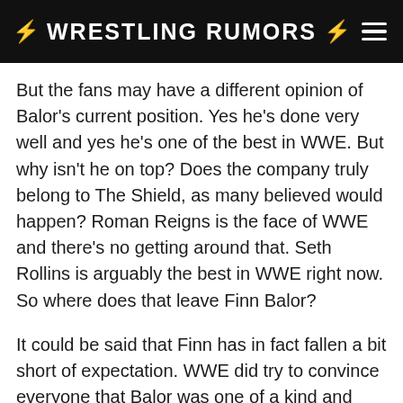⚡ WRESTLING RUMORS ⚡
But the fans may have a different opinion of Balor's current position. Yes he's done very well and yes he's one of the best in WWE. But why isn't he on top? Does the company truly belong to The Shield, as many believed would happen? Roman Reigns is the face of WWE and there's no getting around that. Seth Rollins is arguably the best in WWE right now. So where does that leave Finn Balor?
It could be said that Finn has in fact fallen a bit short of expectation. WWE did try to convince everyone that Balor was one of a kind and very much deserving of attention. Fans more than